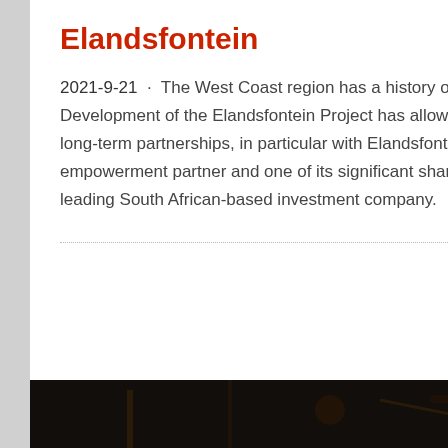Elandsfontein
2021-9-21 · The West Coast region has a history of phosphate mining. Development of the Elandsfontein Project has allowed Kropz to achieve strong, long-term partnerships, in particular with Elandsfontein"s black economic empowerment partner and one of its significant shareholders, the ARC Fund, a leading South African-based investment company.
[Figure (photo): Dark industrial photograph, likely showing mining equipment or pipes, visible at the bottom of the page.]